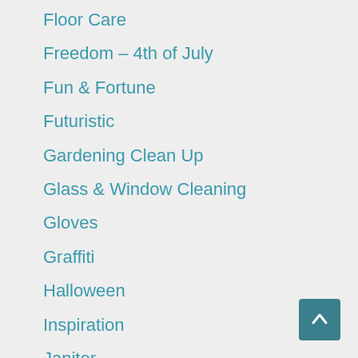Floor Care
Freedom – 4th of July
Fun & Fortune
Futuristic
Gardening Clean Up
Glass & Window Cleaning
Gloves
Graffiti
Halloween
Inspiration
Janitor
Maids
Mops-Mopping
Mother's Day